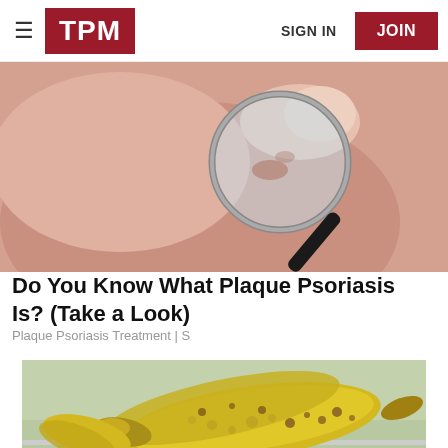TPM | SIGN IN | JOIN
[Figure (photo): Close-up photo of a person using a magnifying glass to examine skin, showing a hand holding a magnifying glass over skin with a lesion or spot.]
Do You Know What Plaque Psoriasis Is? (Take a Look)
Plaque Psoriasis Treatment | S
[Figure (photo): Photo of ripe bananas with brown spots resting on a metal rack/grill, with a blurred outdoor background.]